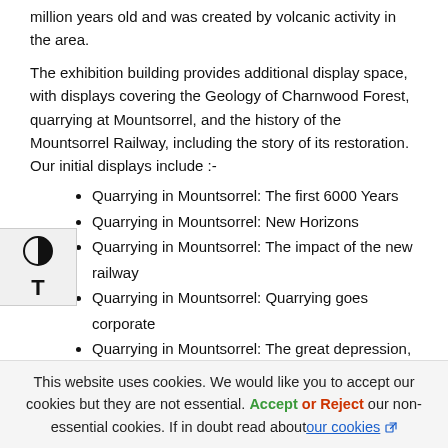million years old and was created by volcanic activity in the area.
The exhibition building provides additional display space, with displays covering the Geology of Charnwood Forest, quarrying at Mountsorrel, and the history of the Mountsorrel Railway, including the story of its restoration. Our initial displays include :-
Quarrying in Mountsorrel: The first 6000 Years
Quarrying in Mountsorrel: New Horizons
Quarrying in Mountsorrel: The impact of the new railway
Quarrying in Mountsorrel: Quarrying goes corporate
Quarrying in Mountsorrel: The great depression, the need to merge
Quarrying in Mountsorrel: The modern quarry
Swithland Slate: Roman and Medieval origins
This website uses cookies. We would like you to accept our cookies but they are not essential. Accept or Reject our non-essential cookies. If in doubt read about our cookies